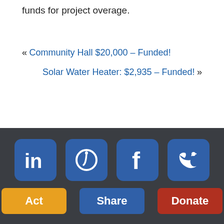funds for project overage.
« Community Hall $20,000 – Funded!
Solar Water Heater: $2,935 – Funded! »
[Figure (infographic): Social media share icons row: LinkedIn, Pinterest, Facebook, Twitter — all blue rounded square buttons with white icons]
[Figure (infographic): Three action buttons: Act (orange), Share (blue), Donate (red)]